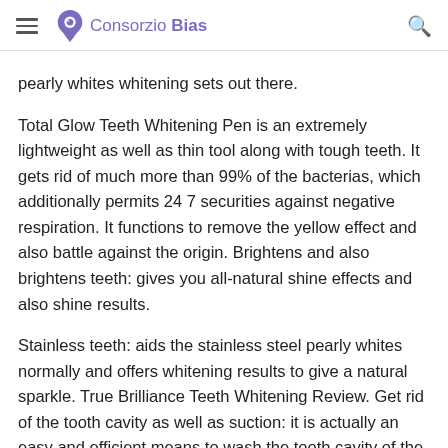Consorzio Bias
pearly whites whitening sets out there.
Total Glow Teeth Whitening Pen is an extremely lightweight as well as thin tool along with tough teeth. It gets rid of much more than 99% of the bacterias, which additionally permits 24 7 securities against negative respiration. It functions to remove the yellow effect and also battle against the origin. Brightens and also brightens teeth: gives you all-natural shine effects and also shine results.
Stainless teeth: aids the stainless steel pearly whites normally and offers whitening results to give a natural sparkle. True Brilliance Teeth Whitening Review. Get rid of the tooth cavity as well as suction: it is actually an easy and efficient means to wash the tooth cavity of the teeth and eliminate the smell coming from the